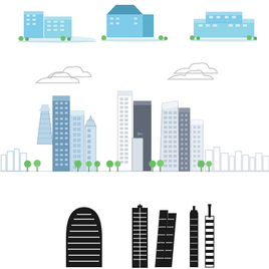[Figure (illustration): Three isometric/3D colorful building illustrations in a row at the top of the page - modern office buildings with blue-green glass facades and surrounding greenery]
[Figure (illustration): Wide city skyline illustration in outline/flat style with blue and grey buildings, clouds above, green trees at street level. Left half uses blue tones, right half uses grey/white tones.]
[Figure (illustration): Black silhouettes of famous skyscrapers: Burj Al Arab sail shape on left, a tall rectangular tower, a twisted pair of towers, and two slender towers on the right.]